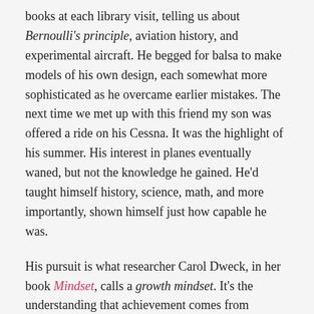books at each library visit, telling us about Bernoulli's principle, aviation history, and experimental aircraft. He begged for balsa to make models of his own design, each somewhat more sophisticated as he overcame earlier mistakes. The next time we met up with this friend my son was offered a ride on his Cessna. It was the highlight of his summer. His interest in planes eventually waned, but not the knowledge he gained. He'd taught himself history, science, math, and more importantly, shown himself just how capable he was.
His pursuit is what researcher Carol Dweck, in her book Mindset, calls a growth mindset. It's the understanding that achievement comes from purposeful engagement, that talent and smarts are not fixed traits but are developed through persistence. A growth mindset is linked to resilience and accomplishment throughout life.